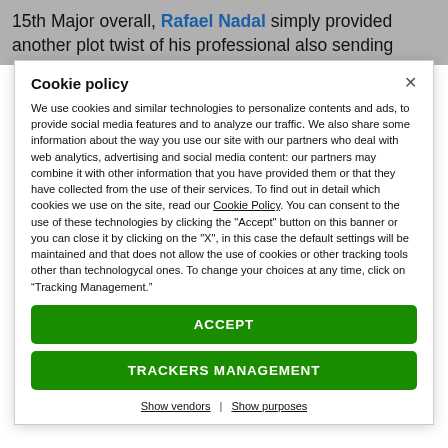15th Major overall, Rafael Nadal simply provided another plot twist of his professional also sending
Cookie policy
We use cookies and similar technologies to personalize contents and ads, to provide social media features and to analyze our traffic. We also share some information about the way you use our site with our partners who deal with web analytics, advertising and social media content: our partners may combine it with other information that you have provided them or that they have collected from the use of their services. To find out in detail which cookies we use on the site, read our Cookie Policy. You can consent to the use of these technologies by clicking the "Accept" button on this banner or you can close it by clicking on the "X", in this case the default settings will be maintained and that does not allow the use of cookies or other tracking tools other than technologycal ones. To change your choices at any time, click on “Tracking Management.”
ACCEPT
TRACKERS MANAGEMENT
Show vendors | Show purposes